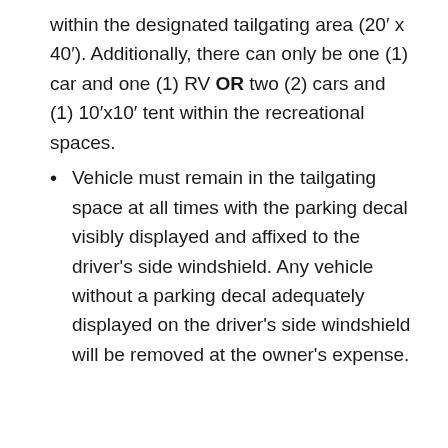within the designated tailgating area (20′ x 40′). Additionally, there can only be one (1) car and one (1) RV OR two (2) cars and (1) 10′x10′ tent within the recreational spaces.
Vehicle must remain in the tailgating space at all times with the parking decal visibly displayed and affixed to the driver's side windshield. Any vehicle without a parking decal adequately displayed on the driver's side windshield will be removed at the owner's expense.